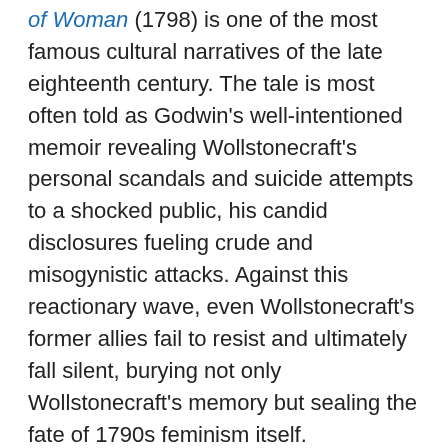of Woman (1798) is one of the most famous cultural narratives of the late eighteenth century. The tale is most often told as Godwin's well-intentioned memoir revealing Wollstonecraft's personal scandals and suicide attempts to a shocked public, his candid disclosures fueling crude and misogynistic attacks. Against this reactionary wave, even Wollstonecraft's former allies fail to resist and ultimately fall silent, burying not only Wollstonecraft's memory but sealing the fate of 1790s feminism itself.
Although this narrative is powerful, it risks distorting the complex history of Mary Wollstonecraft's posthumous reputation. It overlooks numerous other attempts to defend her reputation and legacy in order to read the period as solely that of William Godwin and his many critics. This blog examines several texts from the first years after